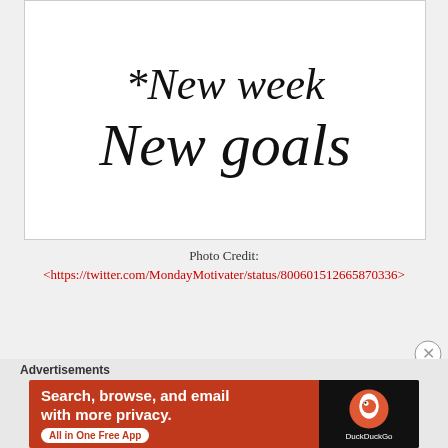[Figure (illustration): Handwritten-style motivational quote on white background: '*New week New goals']
Photo Credit: <https://twitter.com/MondayMotivater/status/800601512665870336>
Advertisements
[Figure (other): DuckDuckGo advertisement banner: 'Search, browse, and email with more privacy. All in One Free App' with DuckDuckGo logo on dark background]